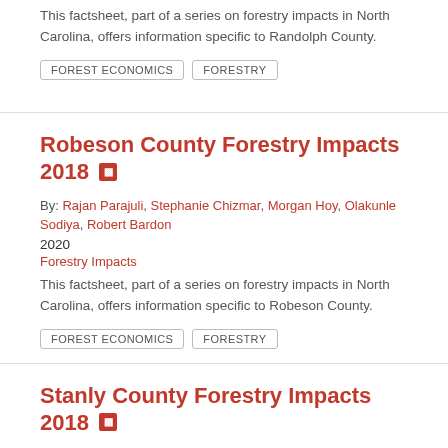This factsheet, part of a series on forestry impacts in North Carolina, offers information specific to Randolph County.
FOREST ECONOMICS
FORESTRY
Robeson County Forestry Impacts 2018
By: Rajan Parajuli, Stephanie Chizmar, Morgan Hoy, Olakunle Sodiya, Robert Bardon
2020
Forestry Impacts
This factsheet, part of a series on forestry impacts in North Carolina, offers information specific to Robeson County.
FOREST ECONOMICS
FORESTRY
Stanly County Forestry Impacts 2018